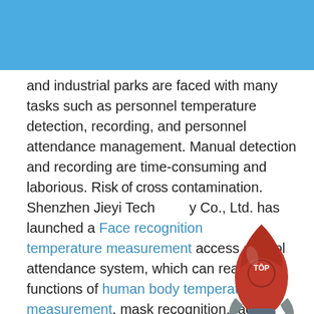and control" and "orderly resumption of work" many public places such as stations, schools,
CATEGORIES
and industrial parks are faced with many tasks such as personnel temperature detection, recording, and personnel attendance management. Manual detection and recording are time-consuming and laborious. Risk of cross contamination. Shenzhen Jieyi Technology Co., Ltd. has launched a Face recognition temperature measurement access control attendance system, which can realize the functions of human body temperature measurement, mask recognition, face recognition, attendance record, credit card, face ID card, gate intelligent control, etc., to help epidemic prevention Control the fight.
[Figure (illustration): A cartoon red rocket with 'TOP' text on it, with dark thruster flames at the bottom, floating in the lower right area of the page.]